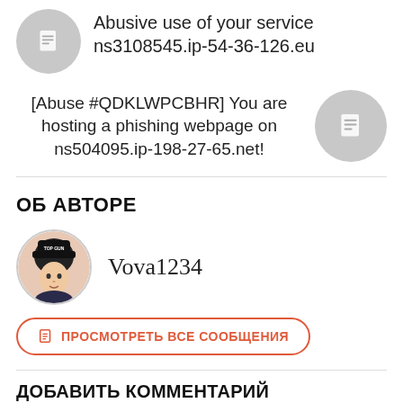Abusive use of your service ns3108545.ip-54-36-126.eu
[Abuse #QDKLWPCBHR] You are hosting a phishing webpage on ns504095.ip-198-27-65.net!
ОБ АВТОРЕ
Vova1234
ПРОСМОТРЕТЬ ВСЕ СООБЩЕНИЯ
ДОБАВИТЬ КОММЕНТАРИЙ